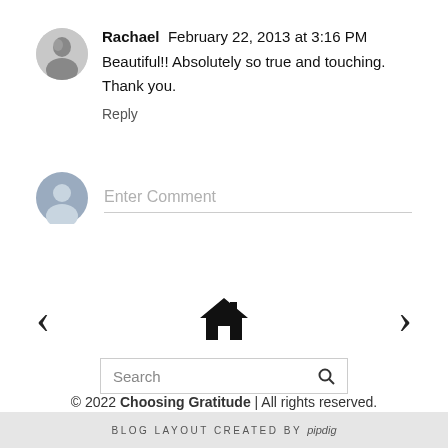Rachael  February 22, 2013 at 3:16 PM
Beautiful!! Absolutely so true and touching. Thank you.
Reply
[Figure (illustration): Placeholder avatar icon with silhouette of person, grey/blue tones, for entering a comment]
Enter Comment
[Figure (illustration): Navigation: left arrow, home icon, right arrow]
Search
© 2022 Choosing Gratitude | All rights reserved.
BLOG LAYOUT CREATED BY pipdig